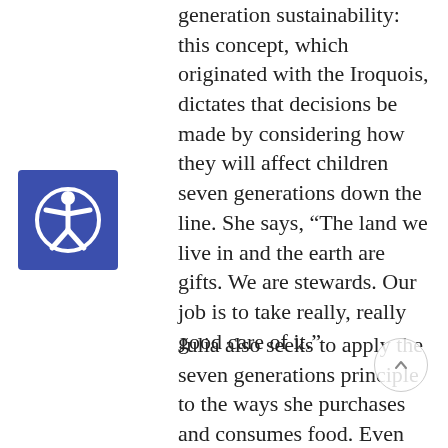generation sustainability: this concept, which originated with the Iroquois, dictates that decisions be made by considering how they will affect children seven generations down the line. She says, “The land we live in and the earth are gifts. We are stewards. Our job is to take really, really good care of it.”
[Figure (illustration): Accessibility icon: white figure with arms and legs outstretched in a circle on a blue square background]
Julia also seeks to apply the seven generations principle to the ways she purchases and consumes food. Even the shirt she wore read “The Future Depends on Us—Support Family Farmers.” She believes strongly in eating food grown locally and keeping local farmers in business, for the health of our bodies, our economy, and the